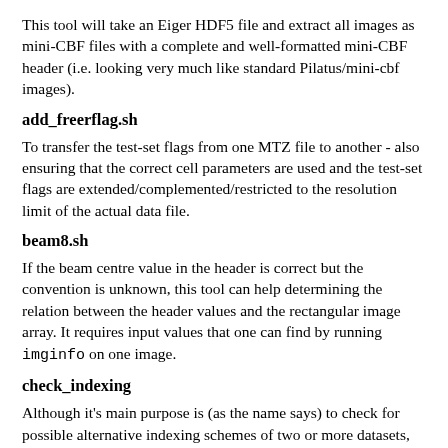This tool will take an Eiger HDF5 file and extract all images as mini-CBF files with a complete and well-formatted mini-CBF header (i.e. looking very much like standard Pilatus/mini-cbf images).
add_freerflag.sh
To transfer the test-set flags from one MTZ file to another - also ensuring that the correct cell parameters are used and the test-set flags are extended/complemented/restricted to the resolution limit of the actual data file.
beam8.sh
If the beam centre value in the header is correct but the convention is unknown, this tool can help determining the relation between the header values and the rectangular image array. It requires input values that one can find by running imginfo on one image.
check_indexing
Although it's main purpose is (as the name says) to check for possible alternative indexing schemes of two or more datasets, when run with the "-v" argument it will also give detailed